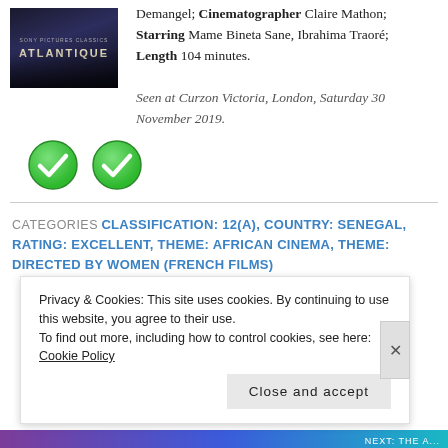[Figure (photo): Movie poster for Atlantique with dark blue background and title text]
Demangel; Cinematographer Claire Mathon; Starring Mame Bineta Sane, Ibrahima Traoré; Length 104 minutes.
Seen at Curzon Victoria, London, Saturday 30 November 2019.
[Figure (illustration): Two green circular checkmark/tick rating icons side by side]
CATEGORIES CLASSIFICATION: 12(A), COUNTRY: SENEGAL, RATING: EXCELLENT, THEME: AFRICAN CINEMA, THEME: DIRECTED BY WOMEN (FRENCH FILMS)
Privacy & Cookies: This site uses cookies. By continuing to use this website, you agree to their use.
To find out more, including how to control cookies, see here: Cookie Policy
Close and accept